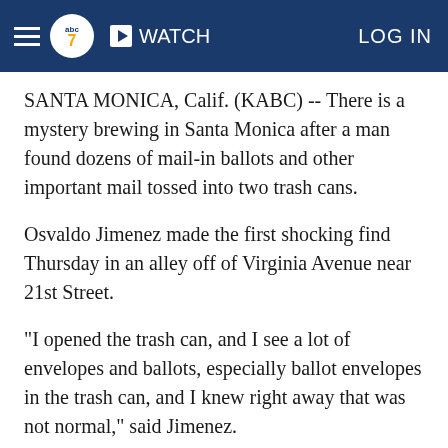abc7 WATCH LOG IN
SANTA MONICA, Calif. (KABC) -- There is a mystery brewing in Santa Monica after a man found dozens of mail-in ballots and other important mail tossed into two trash cans.
Osvaldo Jimenez made the first shocking find Thursday in an alley off of Virginia Avenue near 21st Street.
"I opened the trash can, and I see a lot of envelopes and ballots, especially ballot envelopes in the trash can, and I knew right away that was not normal," said Jimenez.
He found several dozen ballots, bank statements and